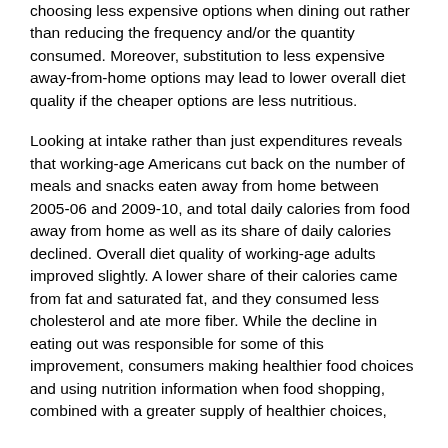choosing less expensive options when dining out rather than reducing the frequency and/or the quantity consumed. Moreover, substitution to less expensive away-from-home options may lead to lower overall diet quality if the cheaper options are less nutritious.
Looking at intake rather than just expenditures reveals that working-age Americans cut back on the number of meals and snacks eaten away from home between 2005-06 and 2009-10, and total daily calories from food away from home as well as its share of daily calories declined. Overall diet quality of working-age adults improved slightly. A lower share of their calories came from fat and saturated fat, and they consumed less cholesterol and ate more fiber. While the decline in eating out was responsible for some of this improvement, consumers making healthier food choices and using nutrition information when food shopping, combined with a greater supply of healthier choices,